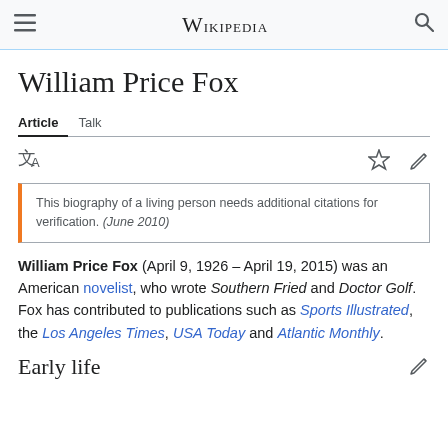≡ WIKIPEDIA 🔍
William Price Fox
Article  Talk
This biography of a living person needs additional citations for verification. (June 2010)
William Price Fox (April 9, 1926 – April 19, 2015) was an American novelist, who wrote Southern Fried and Doctor Golf. Fox has contributed to publications such as Sports Illustrated, the Los Angeles Times, USA Today and Atlantic Monthly.
Early life